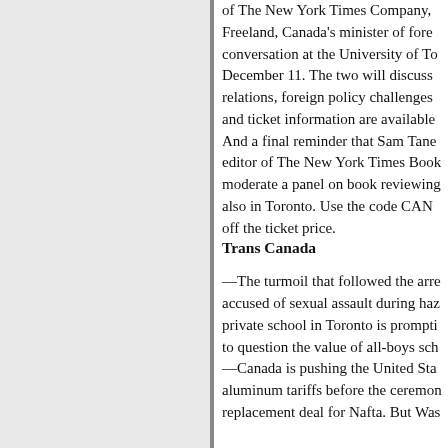of The New York Times Company, Freeland, Canada's minister of foreign conversation at the University of To December 11. The two will discuss relations, foreign policy challenges and ticket information are available
And a final reminder that Sam Tane editor of The New York Times Book moderate a panel on book reviewing also in Toronto. Use the code CAN off the ticket price.
Trans Canada
—The turmoil that followed the arr accused of sexual assault during ha private school in Toronto is prompti to question the value of all-boys sc
—Canada is pushing the United St aluminum tariffs before the ceremo replacement deal for Nafta. But Wa